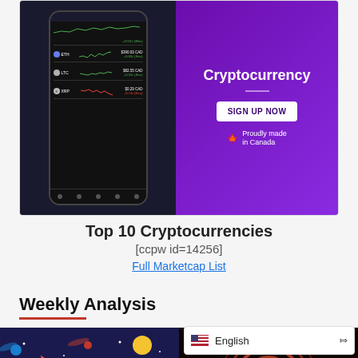[Figure (screenshot): Cryptocurrency app advertisement banner showing a phone mock-up with ETH, LTC, XRP prices on left half, and purple background with 'Cryptocurrency', 'SIGN UP NOW' button, and 'Proudly made in Canada' text on right half.]
Top 10 Cryptocurrencies
[ccpw id=14256]
Full Marketcap List
Weekly Analysis
[Figure (illustration): Thumbnail image with dark space background showing rocket, planets, stars and yellow bold text reading 'hanges And hangers']
[Figure (photo): Thumbnail image showing Monero coin logo glowing in orange/red on dark background with a phone]